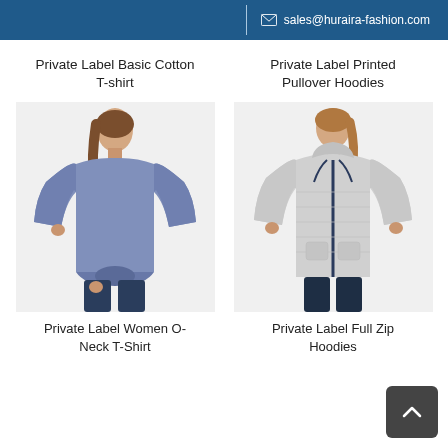sales@huraira-fashion.com
Private Label Basic Cotton T-shirt
Private Label Printed Pullover Hoodies
[Figure (photo): Woman wearing a purple/blue long-sleeve cotton t-shirt with a knotted hem, styled with jeans.]
[Figure (photo): Woman wearing a grey marled zip-up pullover hoodie with dark drawstrings.]
Private Label Women O-Neck T-Shirt
Private Label Full Zip Hoodies